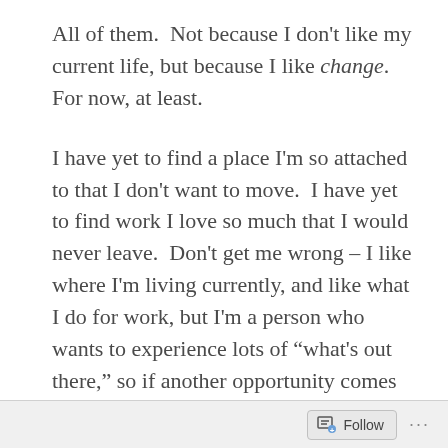All of them.  Not because I don't like my current life, but because I like change.  For now, at least.
I have yet to find a place I'm so attached to that I don't want to move.  I have yet to find work I love so much that I would never leave.  Don't get me wrong – I like where I'm living currently, and like what I do for work, but I'm a person who wants to experience lots of "what's out there," so if another opportunity comes my way, I listen to my heart and go with what it tells me.
I have this image in my head of where I'll
Follow ···